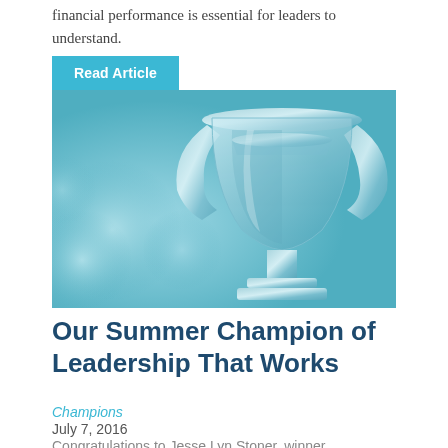financial performance is essential for leaders to understand.
[Figure (photo): A trophy cup with a teal/blue tint overlay, with a 'Read Article' button overlaid at the top left]
Our Summer Champion of Leadership That Works
Champions
July 7, 2016
Congratulations to Jesse Lyn Stoner, winner